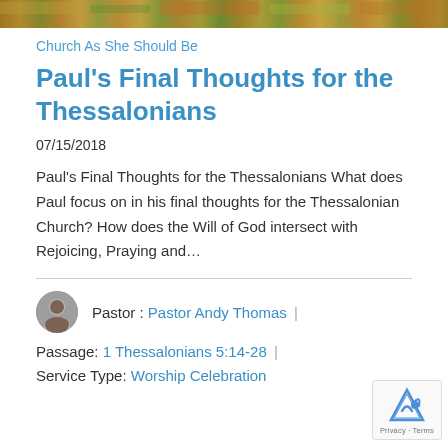[Figure (photo): Banner image with food/colorful background at top of page]
Church As She Should Be
Paul's Final Thoughts for the Thessalonians
07/15/2018
Paul's Final Thoughts for the Thessalonians What does Paul focus on in his final thoughts for the Thessalonian Church? How does the Will of God intersect with Rejoicing, Praying and…
Pastor : Pastor Andy Thomas
Passage: 1 Thessalonians 5:14-28
Service Type: Worship Celebration